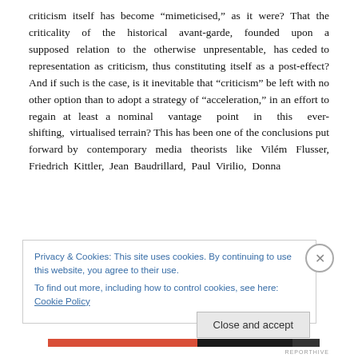criticism itself has become “mimeticised,” as it were? That the criticality of the historical avant-garde, founded upon a supposed relation to the otherwise unpresentable, has ceded to representation as criticism, thus constituting itself as a post-effect? And if such is the case, is it inevitable that “criticism” be left with no other option than to adopt a strategy of “acceleration,” in an effort to regain at least a nominal vantage point in this ever-shifting, virtualised terrain? This has been one of the conclusions put forward by contemporary media theorists like Vilém Flusser, Friedrich Kittler, Jean Baudrillard, Paul Virilio, Donna
Privacy & Cookies: This site uses cookies. By continuing to use this website, you agree to their use.
To find out more, including how to control cookies, see here: Cookie Policy